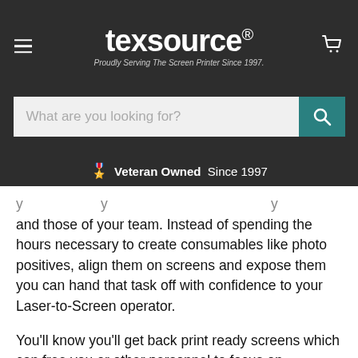texsource® — Proudly Serving The Screen Printer Since 1997.
What are you looking for?
🎖️ Veteran Owned  Since 1997
and those of your team. Instead of spending the hours necessary to create consumables like photo positives, align them on screens and expose them you can hand that task off with confidence to your Laser-to-Screen operator.

You'll know you'll get back print ready screens which can free you or other personnel to focus on materials purchases, sales or marketing. Consider this the breather you need to focus on your business and not simply your day to day operating tasks.